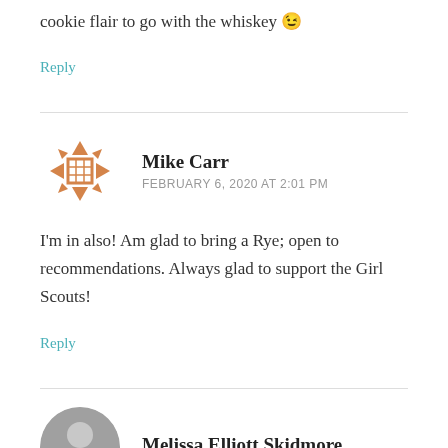... will build something with a girl scout cookie flair to go with the whiskey 😉
Reply
Mike Carr
FEBRUARY 6, 2020 AT 2:01 PM
I'm in also! Am glad to bring a Rye; open to recommendations. Always glad to support the Girl Scouts!
Reply
Melissa Elliott Skidmore